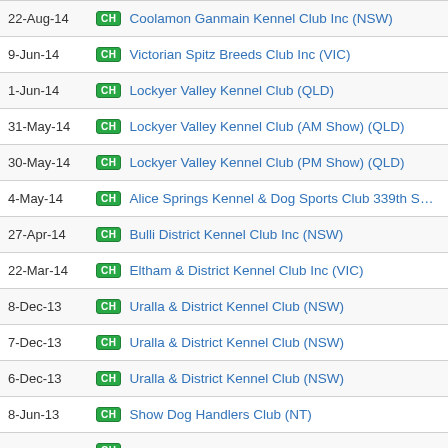| Date | Type | Club |
| --- | --- | --- |
| 22-Aug-14 | CH | Coolamon Ganmain Kennel Club Inc (NSW) |
| 9-Jun-14 | CH | Victorian Spitz Breeds Club Inc (VIC) |
| 1-Jun-14 | CH | Lockyer Valley Kennel Club (QLD) |
| 31-May-14 | CH | Lockyer Valley Kennel Club (AM Show) (QLD) |
| 30-May-14 | CH | Lockyer Valley Kennel Club (PM Show) (QLD) |
| 4-May-14 | CH | Alice Springs Kennel & Dog Sports Club 339th Show |
| 27-Apr-14 | CH | Bulli District Kennel Club Inc (NSW) |
| 22-Mar-14 | CH | Eltham & District Kennel Club Inc (VIC) |
| 8-Dec-13 | CH | Uralla & District Kennel Club (NSW) |
| 7-Dec-13 | CH | Uralla & District Kennel Club (NSW) |
| 6-Dec-13 | CH | Uralla & District Kennel Club (NSW) |
| 8-Jun-13 | CH | Show Dog Handlers Club (NT) |
|  | CH |  |